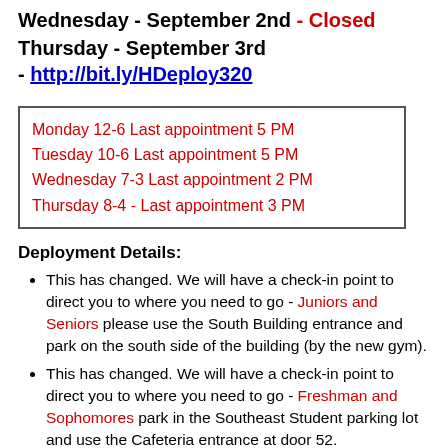Wednesday - September 2nd - Closed
Thursday - September 3rd
- http://bit.ly/HDeploy320
| Monday 12-6 Last appointment 5 PM |
| Tuesday 10-6 Last appointment 5 PM |
| Wednesday 7-3 Last appointment 2 PM |
| Thursday 8-4 - Last appointment 3 PM |
Deployment Details:
This has changed. We will have a check-in point to direct you to where you need to go - Juniors and Seniors please use the South Building entrance and park on the south side of the building (by the new gym).
This has changed. We will have a check-in point to direct you to where you need to go - Freshman and Sophomores park in the Southeast Student parking lot and use the Cafeteria entrance at door 52.
You will need to have your temperature checked at